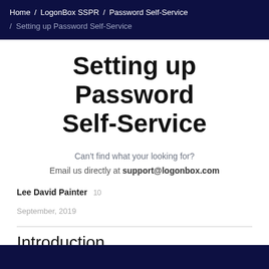Home / LogonBox SSPR / Password Self-Service / Setting up Password Self-Service
Setting up Password Self-Service
Can't find what your looking for?
Email us directly at support@logonbox.com
Lee David Painter 10
September, 2019
Introduction